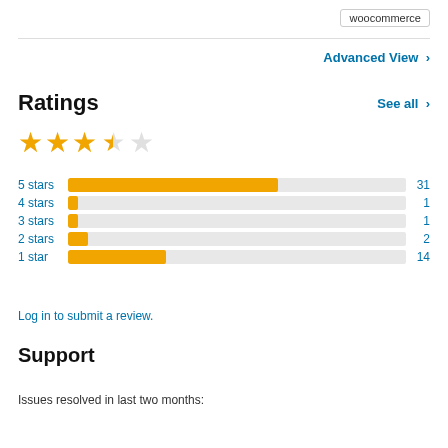woocommerce
Advanced View
Ratings
[Figure (other): 3.5 out of 5 stars rating display with 3 full gold stars, 1 half star, 1 empty star]
[Figure (bar-chart): Ratings breakdown]
Log in to submit a review.
Support
Issues resolved in last two months: